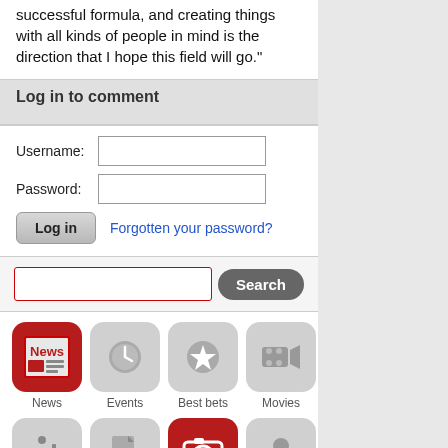successful formula, and creating things with all kinds of people in mind is the direction that I hope this field will go."
Log in to comment
Username: [input] Password: [input] Log in  Forgotten your password?
[Figure (screenshot): Search bar with red-bordered text input and a dark rounded Search button]
[Figure (infographic): App icon grid: News (active/red), Events, Best bets, Movies in top row; food, document, camera (active/red), person in bottom row]